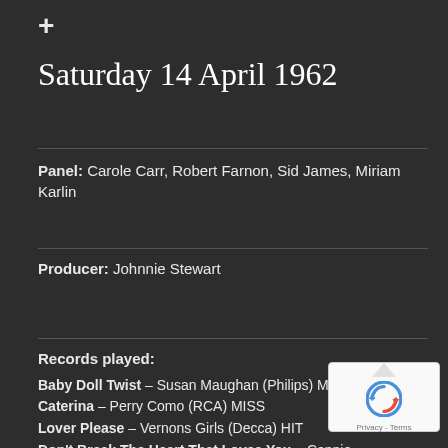+
Saturday 14 April 1962
Panel: Carole Carr, Robert Farnon, Sid James, Miriam Karlin
Producer: Johnnie Stewart
Records played:
Baby Doll Twist – Susan Maughan (Philips) MISS
Caterina – Perry Como (RCA) MISS
Lover Please – Vernons Girls (Decca) HIT
Don't Break The Heart That Loves You – Connie (MGM) MISS